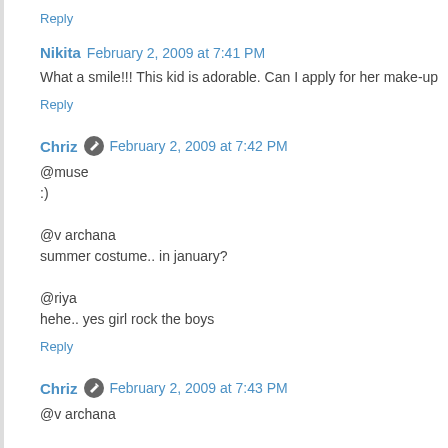Reply
Nikita  February 2, 2009 at 7:41 PM
What a smile!!! This kid is adorable. Can I apply for her make-up
Reply
Chriz  February 2, 2009 at 7:42 PM
@muse
:)

@v archana
summer costume.. in january?

@riya
hehe.. yes girl rock the boys
Reply
Chriz  February 2, 2009 at 7:43 PM
@v archana